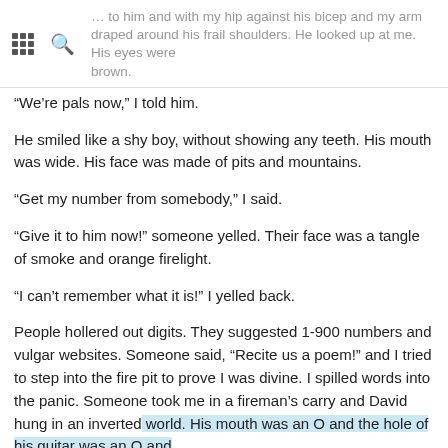… to him and with my hip against his bicep and my arm draped around his frail shoulders. He looked up at me. His eyes were brown.
“We’re pals now,” I told him.
He smiled like a shy boy, without showing any teeth. His mouth was wide. His face was made of pits and mountains.
“Get my number from somebody,” I said.
“Give it to him now!” someone yelled. Their face was a tangle of smoke and orange firelight.
“I can’t remember what it is!” I yelled back.
People hollered out digits. They suggested 1-900 numbers and vulgar websites. Someone said, “Recite us a poem!” and I tried to step into the fire pit to prove I was divine. I spilled words into the panic. Someone took me in a fireman’s carry and David hung in an inverted world. His mouth was an O and the hole of his guitar was an O and